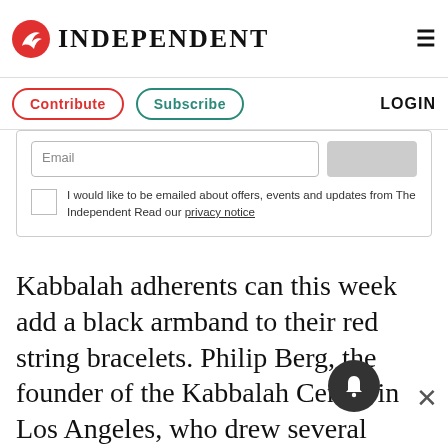INDEPENDENT
Contribute  Subscribe  LOGIN
Email  [checkbox] I would like to be emailed about offers, events and updates from The Independent Read our privacy notice
Kabbalah adherents can this week add a black armband to their red string bracelets. Philip Berg, the founder of the Kabbalah Centre in Los Angeles, who drew several major celebrities to his new-age brand of ancient Jewish mysticism, has died. Most famously, the spiritual organisation counted Madonna among its followers, and in 2005 the actors